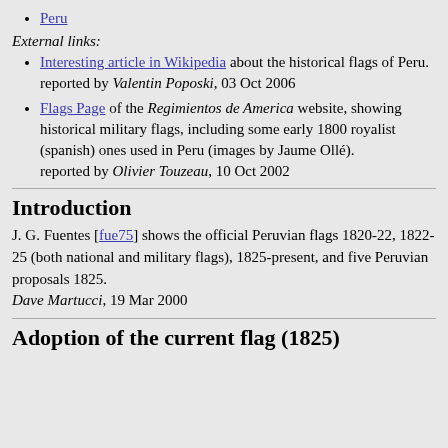Peru
External links:
Interesting article in Wikipedia about the historical flags of Peru.
reported by Valentin Poposki, 03 Oct 2006
Flags Page of the Regimientos de America website, showing historical military flags, including some early 1800 royalist (spanish) ones used in Peru (images by Jaume Ollé).
reported by Olivier Touzeau, 10 Oct 2002
Introduction
J. G. Fuentes [fue75] shows the official Peruvian flags 1820-22, 1822-25 (both national and military flags), 1825-present, and five Peruvian proposals 1825.
Dave Martucci, 19 Mar 2000
Adoption of the current flag (1825)